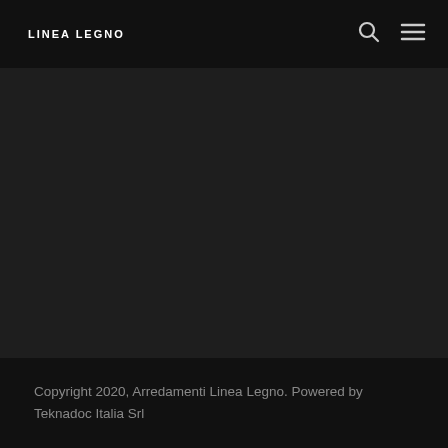LINEA LEGNO
[Figure (other): Dark main content area, mostly empty/dark background]
Copyright 2020, Arredamenti Linea Legno. Powered by Teknadoc Italia Srl